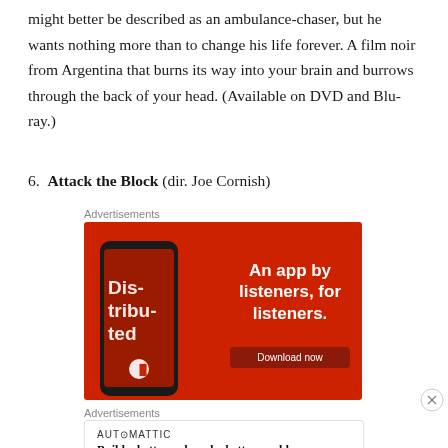might better be described as an ambulance-chaser, but he wants nothing more than to change his life forever. A film noir from Argentina that burns its way into your brain and burrows through the back of your head. (Available on DVD and Blu-ray.)
6. Attack the Block (dir. Joe Cornish)
Advertisements
[Figure (photo): Red advertisement banner for a podcast app with text 'An app by listeners, for listeners.' and a Download now button, with a phone mockup showing a podcast app interface with 'Distributed' text]
Advertisements
[Figure (other): Automattic advertisement: 'Build a better web and a better world.']